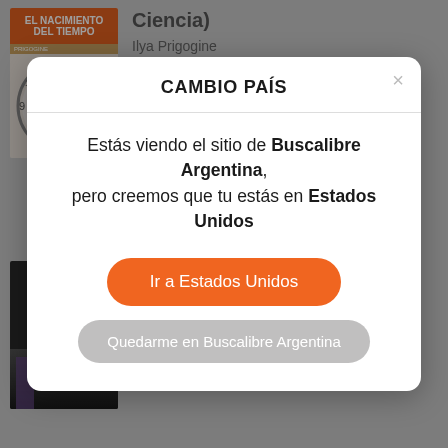[Figure (screenshot): Background showing a book listing page for 'El Nacimiento del Tiempo' by Ilya Prigogine, with book cover, publisher info, price $7.408, and a Comprar button. The background is dimmed by a modal overlay.]
CAMBIO PAÍS
Estás viendo el sitio de Buscalibre Argentina, pero creemos que tu estás en Estados Unidos
Ir a Estados Unidos
Quedarme en Buscalibre Argentina